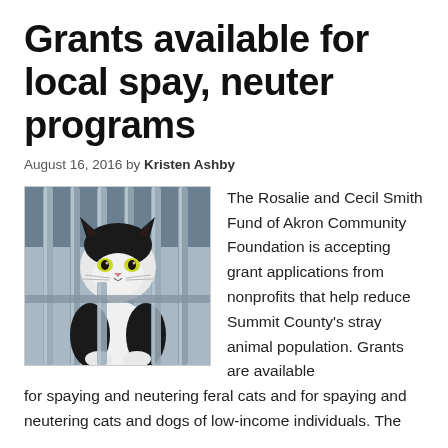Grants available for local spay, neuter programs
August 16, 2016 by Kristen Ashby
[Figure (photo): A black and white cat sitting behind metal cage bars, looking at the camera.]
The Rosalie and Cecil Smith Fund of Akron Community Foundation is accepting grant applications from nonprofits that help reduce Summit County's stray animal population. Grants are available for spaying and neutering feral cats and for spaying and neutering cats and dogs of low-income individuals. The